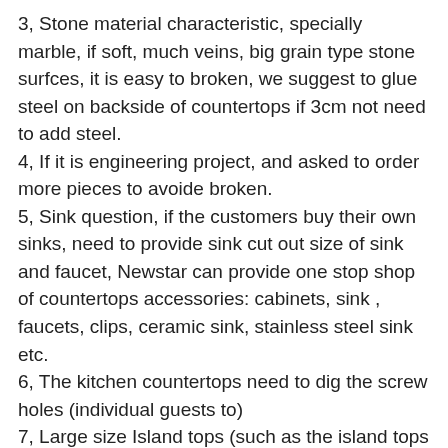3, Stone material characteristic, specially marble, if soft, much veins, big grain type stone surfces, it is easy to broken, we suggest to glue steel on backside of countertops if 3cm not need to add steel.
4, If it is engineering project, and asked to order more pieces to avoide broken.
5, Sink question, if the customers buy their own sinks, need to provide sink cut out size of sink and faucet, Newstar can provide one stop shop of countertops accessories: cabinets, sink , faucets, clips, ceramic sink, stainless steel sink etc.
6, The kitchen countertops need to dig the screw holes (individual guests to)
7, Large size Island tops (such as the island tops more, or L-type more), pay attention to the Big size countertops or island tops can not be stacked when load containers. Make sure that one cabinet is installed.
8, Countertops project, need to specify the room number or customers specified number.
9, Stone colors, make the same room with the uniform the